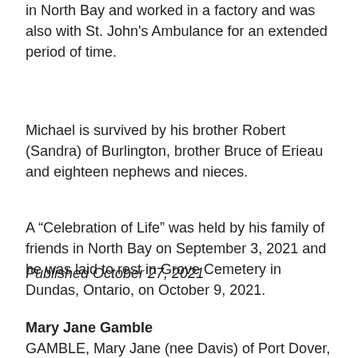in North Bay and worked in a factory and was also with St. John's Ambulance for an extended period of time.
Michael is survived by his brother Robert (Sandra) of Burlington, brother Bruce of Erieau and eighteen nephews and nieces.
A “Celebration of Life” was held by his family of friends in North Bay on September 3, 2021 and he was laid to rest in Grove Cemetery in Dundas, Ontario, on October 9, 2021.
Published October 27, 2021
Mary Jane Gamble
GAMBLE, Mary Jane (nee Davis) of Port Dover,